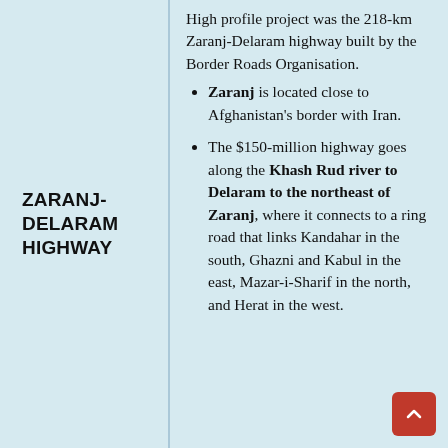ZARANJ-DELARAM HIGHWAY
High profile project was the 218-km Zaranj-Delaram highway built by the Border Roads Organisation.
Zaranj is located close to Afghanistan's border with Iran.
The $150-million highway goes along the Khash Rud river to Delaram to the northeast of Zaranj, where it connects to a ring road that links Kandahar in the south, Ghazni and Kabul in the east, Mazar-i-Sharif in the north, and Herat in the west.